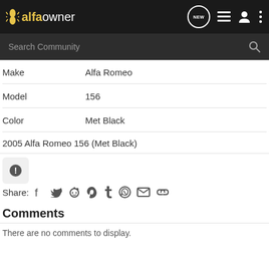alfaowner — Search Community
| Field | Value |
| --- | --- |
| Make | Alfa Romeo |
| Model | 156 |
| Color | Met Black |
2005 Alfa Romeo 156 (Met Black)
Share:
Comments
There are no comments to display.